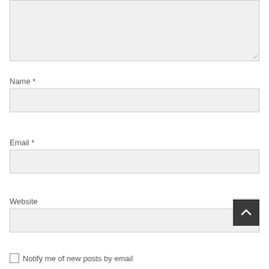[Figure (screenshot): A textarea input field with light gray background and resize handle in bottom-right corner]
Name *
[Figure (screenshot): A single-line text input field for Name with light gray background]
Email *
[Figure (screenshot): A single-line text input field for Email with light gray background]
Website
[Figure (screenshot): A single-line text input field for Website with light gray background, and a dark scroll-to-top button with upward chevron arrow overlaid in bottom-right]
Notify me of new posts by email